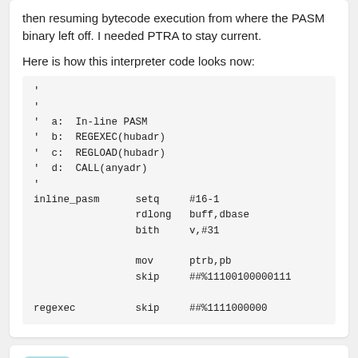then resuming bytecode execution from where the PASM binary left off. I needed PTRA to stay current.
Here is how this interpreter code looks now:
'
'
'
'  a:  In-line PASM
'  b:  REGEXEC(hubadr)
'  c:  REGLOAD(hubadr)
'  d:  CALL(anyadr)
'
inline_pasm      setq     #16-1
                 rdlong   buff,dbase
                 bith     v,#31

                 mov      ptrb,pb
                 skip     ##%11100100000111

regexec          skip     ##%1111000000
Rayman   Posts: 12,746
2019-12-13 22:59